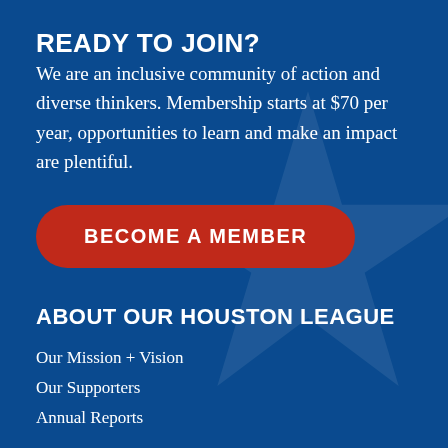READY TO JOIN?
We are an inclusive community of action and diverse thinkers. Membership starts at $70 per year, opportunities to learn and make an impact are plentiful.
BECOME A MEMBER
ABOUT OUR HOUSTON LEAGUE
Our Mission + Vision
Our Supporters
Annual Reports